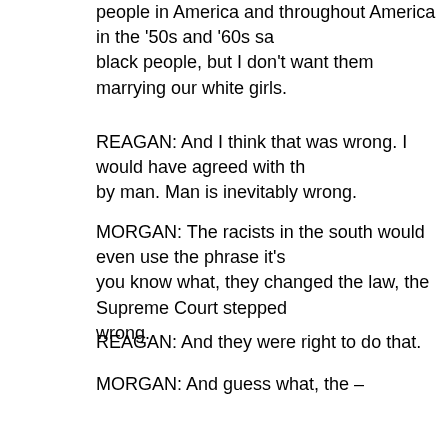people in America and throughout America in the '50s and '60s sa... black people, but I don't want them marrying our white girls.
REAGAN: And I think that was wrong. I would have agreed with th... by man. Man is inevitably wrong.
MORGAN: The racists in the south would even use the phrase it's... you know what, they changed the law, the Supreme Court stepped... wrong.
REAGAN: And they were right to do that.
MORGAN: And guess what, the –
REAGAN: But they were -- they were right –
MORGAN: Guess what, Michael, the world didn't end. We all got u... people marrying white people.
REAGAN: And I – I don't have a problem with it. As I told you. Ma... mistakes. That's why we have laws. And God, I don't think, ever m...